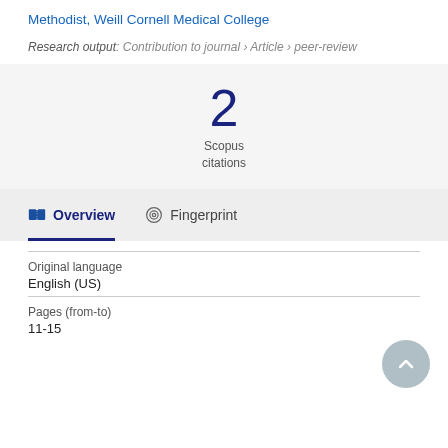Methodist, Weill Cornell Medical College
Research output: Contribution to journal › Article › peer-review
2 Scopus citations
Overview
Fingerprint
| Field | Value |
| --- | --- |
| Original language | English (US) |
| Pages (from-to) | 11-15 |